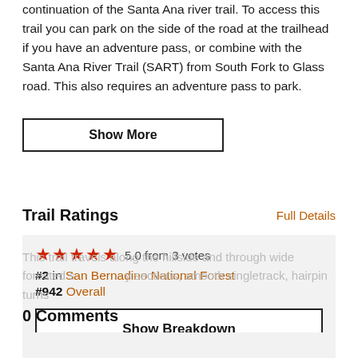continuation of the Santa Ana river trail. To access this trail you can park on the side of the road at the trailhead if you have an adventure pass, or combine with the Santa Ana River Trail (SART) from South Fork to Glass road. This also requires an adventure pass to park.
[Figure (other): Show More button overlaid on partially visible text about the trail travelling along the hillside and through wide forested sections, smooth singletrack, hairpin turns]
Trail Ratings
Full Details
★★★★★ 5.0 from 3 votes
#2 in San Bernadino National Forest
#942 Overall
Show Breakdown
0 Comments